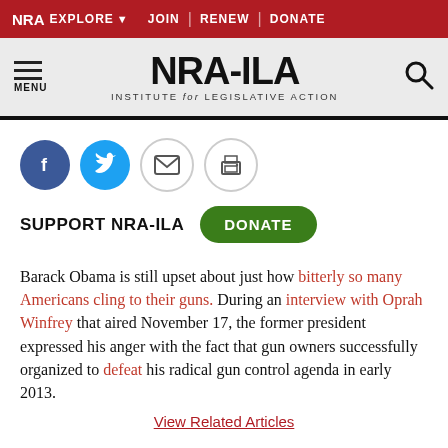NRA EXPLORE ▾  JOIN | RENEW | DONATE
[Figure (logo): NRA-ILA logo with hamburger menu and search icon on grey background]
[Figure (infographic): Social sharing icons: Facebook, Twitter, Email, Print]
SUPPORT NRA-ILA   DONATE
Barack Obama is still upset about just how bitterly so many Americans cling to their guns. During an interview with Oprah Winfrey that aired November 17, the former president expressed his anger with the fact that gun owners successfully organized to defeat his radical gun control agenda in early 2013.
View Related Articles